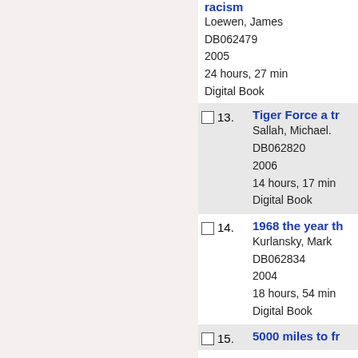racism
Loewen, James
DB062479
2005
24 hours, 27 min
Digital Book
13. Tiger Force a tr
Sallah, Michael.
DB062820
2006
14 hours, 17 min
Digital Book
14. 1968 the year th
Kurlansky, Mark
DB062834
2004
18 hours, 54 min
Digital Book
15. 5000 miles to fr